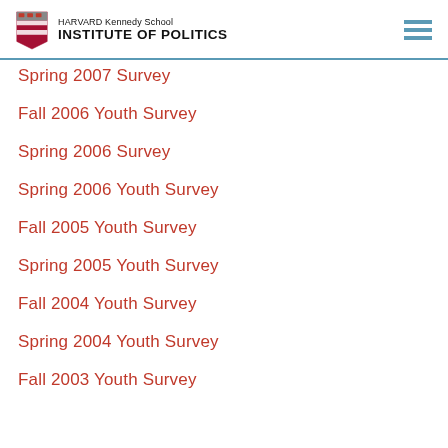Harvard Kennedy School Institute of Politics
Spring 2007 Survey
Fall 2006 Youth Survey
Spring 2006 Survey
Spring 2006 Youth Survey
Fall 2005 Youth Survey
Spring 2005 Youth Survey
Fall 2004 Youth Survey
Spring 2004 Youth Survey
Fall 2003 Youth Survey